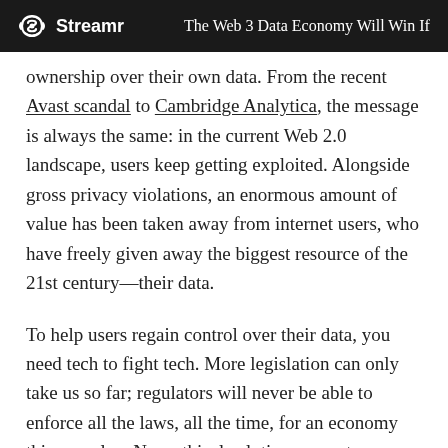Streamr — The Web 3 Data Economy Will Win If It
ownership over their own data. From the recent Avast scandal to Cambridge Analytica, the message is always the same: in the current Web 2.0 landscape, users keep getting exploited. Alongside gross privacy violations, an enormous amount of value has been taken away from internet users, who have freely given away the biggest resource of the 21st century—their data.
To help users regain control over their data, you need tech to fight tech. More legislation can only take us so far; regulators will never be able to enforce all the laws, all the time, for an economy this complex. New ethical solutions seem to promise change, but a lack of user adoption and an array of UX challenges have meant